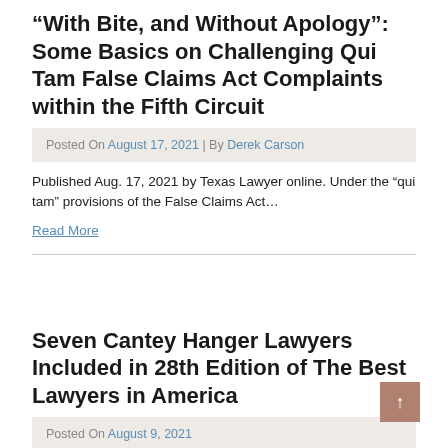“With Bite, and Without Apology”: Some Basics on Challenging Qui Tam False Claims Act Complaints within the Fifth Circuit
Posted On August 17, 2021 | By Derek Carson
Published Aug. 17, 2021 by Texas Lawyer online. Under the “qui tam” provisions of the False Claims Act…
Read More
Seven Cantey Hanger Lawyers Included in 28th Edition of The Best Lawyers in America
Posted On August 9, 2021
Cantey Hanger wishes to extend its heartiest congratulations to six of our attorneys who have been recognized for…
Read More